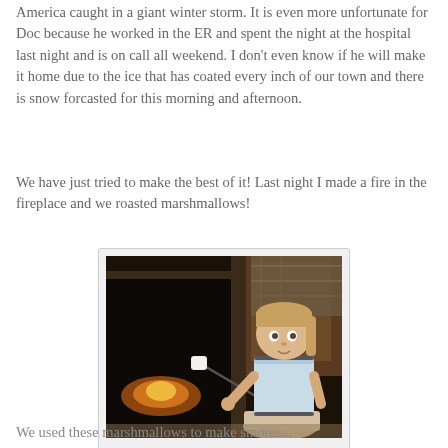America caught in a giant winter storm. It is even more unfortunate for Doc because he worked in the ER and spent the night at the hospital last night and is on call all weekend. I don't even know if he will make it home due to the ice that has coated every inch of our town and there is snow forcasted for this morning and afternoon.
We have just tried to make the best of it! Last night I made a fire in the fireplace and we roasted marshmallows!
[Figure (photo): A young child sitting on the floor in front of a fireplace, roasting a marshmallow on a long skewer/poker. The fireplace is dark with flames visible. The child is wearing a light blue t-shirt with dark trim and patterned shorts.]
We used these marshmallows to make smores...